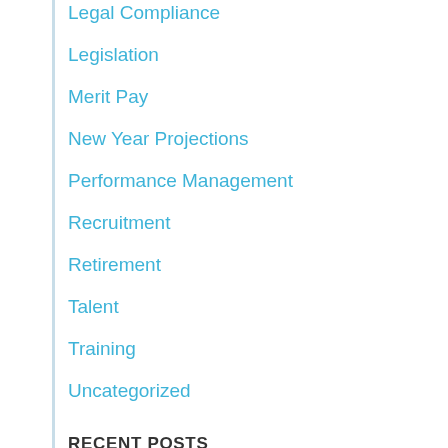Legal Compliance
Legislation
Merit Pay
New Year Projections
Performance Management
Recruitment
Retirement
Talent
Training
Uncategorized
RECENT POSTS
2023 Compensation Budgeting Forecast Part 1: Base Pay Adjustments
Working With a Nonprofit Human Resources Consultant: A Guide